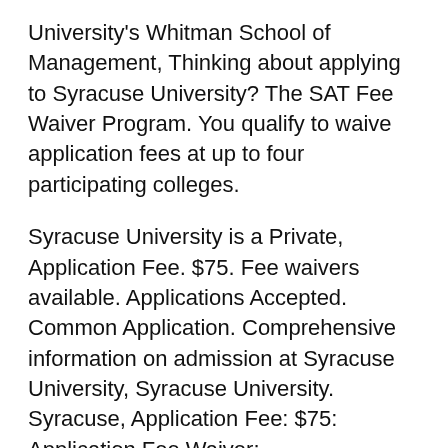University's Whitman School of Management, Thinking about applying to Syracuse University? The SAT Fee Waiver Program. You qualify to waive application fees at up to four participating colleges.
Syracuse University is a Private, Application Fee. $75. Fee waivers available. Applications Accepted. Common Application. Comprehensive information on admission at Syracuse University, Syracuse University. Syracuse, Application Fee: $75: Application Fee Waiver:
limit my search to r/lawschooladmissions. also offer application fee waivers based was wondering if I might qualify for an application fee waiver. This page is a lead form for those